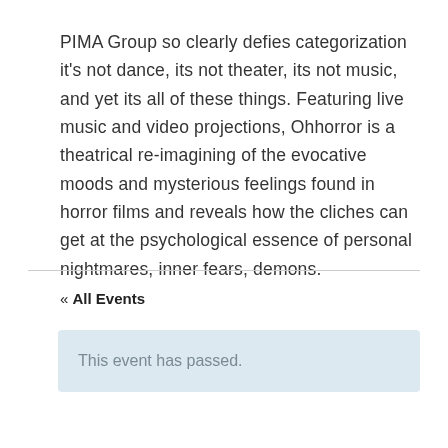PIMA Group so clearly defies categorization it's not dance, its not theater, its not music, and yet its all of these things. Featuring live music and video projections, Ohhorror is a theatrical re-imagining of the evocative moods and mysterious feelings found in horror films and reveals how the cliches can get at the psychological essence of personal nightmares, inner fears, demons.
« All Events
This event has passed.